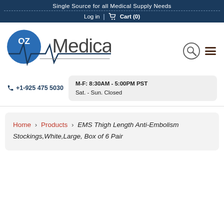Single Source for all Medical Supply Needs
Log in | Cart (0)
[Figure (logo): OZ Medical logo with heartbeat line graphic]
+1-925 475 5030
M-F: 8:30AM - 5:00PM PST
Sat. - Sun. Closed
Home › Products › EMS Thigh Length Anti-Embolism Stockings,White,Large, Box of 6 Pair